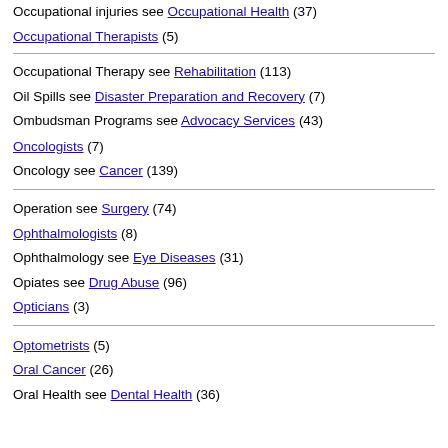Occupational injuries see Occupational Health (37)
Occupational Therapists (5)
Occupational Therapy see Rehabilitation (113)
Oil Spills see Disaster Preparation and Recovery (7)
Ombudsman Programs see Advocacy Services (43)
Oncologists (7)
Oncology see Cancer (139)
Operation see Surgery (74)
Ophthalmologists (8)
Ophthalmology see Eye Diseases (31)
Opiates see Drug Abuse (96)
Opticians (3)
Optometrists (5)
Oral Cancer (26)
Oral Health see Dental Health (36)